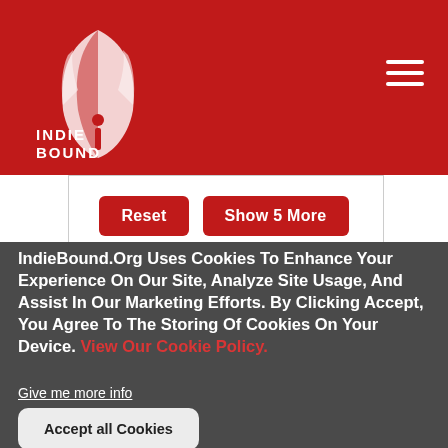IndieBound logo and navigation header
Reset
Show 5 More
Online and in-store stock may differ. Please call before going to store.
Ecommerce available
IndieBound.Org Uses Cookies To Enhance Your Experience On Our Site, Analyze Site Usage, And Assist In Our Marketing Efforts. By Clicking Accept, You Agree To The Storing Of Cookies On Your Device. View Our Cookie Policy.
Give me more info
Accept all Cookies